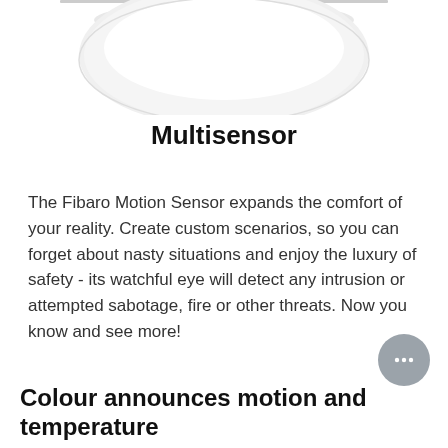[Figure (photo): Top portion of a white Fibaro Motion Sensor device, showing the rounded dome shape against a white background with a thin horizontal line above.]
Multisensor
The Fibaro Motion Sensor expands the comfort of your reality. Create custom scenarios, so you can forget about nasty situations and enjoy the luxury of safety - its watchful eye will detect any intrusion or attempted sabotage, fire or other threats. Now you know and see more!
Colour announces motion and temperature